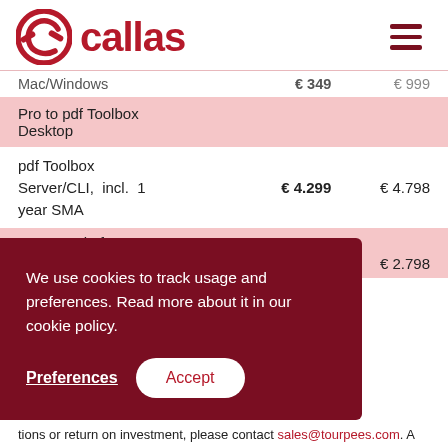callas
| Product | Price |  |
| --- | --- | --- |
| Mac/Windows | €349 | €999 |
| Pro to pdf Toolbox Desktop |  |  |
| pdf Toolbox Server/CLI, incl. 1 year SMA | € 4.299 | € 4.798 |
| Crossgrade from ... | € 2.798 |  |
[Figure (other): Cookie consent popup with dark red background. Text: 'We use cookies to track usage and preferences. Read more about it in our cookie policy.' Buttons: 'Preferences' (underlined) and 'Accept' (white rounded button).]
tions or return on investment, please contact sales@tourpees.com. A